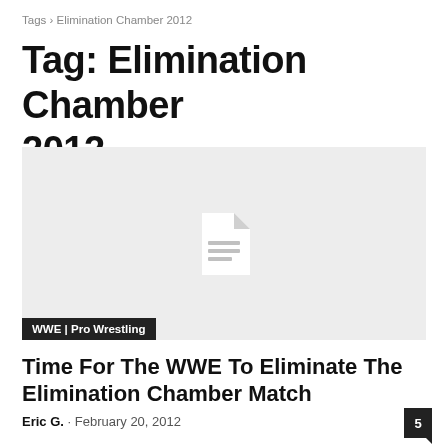Tags › Elimination Chamber 2012
Tag: Elimination Chamber 2012
[Figure (illustration): Gray placeholder image card with a document/file icon in the center and a dark label bar at the bottom reading 'WWE | Pro Wrestling']
Time For The WWE To Eliminate The Elimination Chamber Match
Eric G.  ·  February 20, 2012